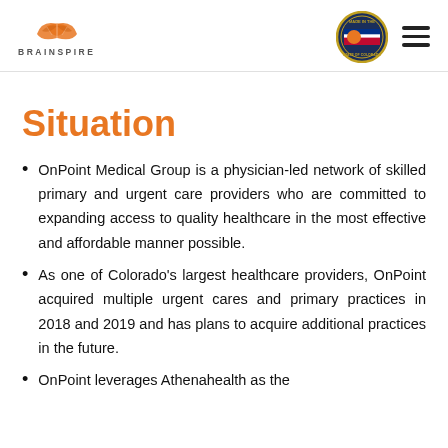BRAINSPIRE
Situation
OnPoint Medical Group is a physician-led network of skilled primary and urgent care providers who are committed to expanding access to quality healthcare in the most effective and affordable manner possible.
As one of Colorado's largest healthcare providers, OnPoint acquired multiple urgent cares and primary practices in 2018 and 2019 and has plans to acquire additional practices in the future.
OnPoint leverages Athenahealth as the